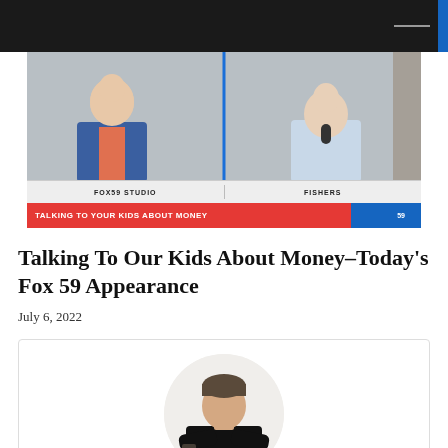[Figure (screenshot): TV screenshot showing two news anchors in split screen. Left panel labeled 'FOX59 STUDIO', right panel labeled 'FISHERS'. Lower third red and blue banner reads 'TALKING TO YOUR KIDS ABOUT MONEY' with FOX 59 logo.]
Talking To Our Kids About Money–Today's Fox 59 Appearance
July 6, 2022
[Figure (photo): Author photo of Justin, a man in a black t-shirt with arms crossed, circular crop on grey/white background.]
About Justin
Happily, today Justin…